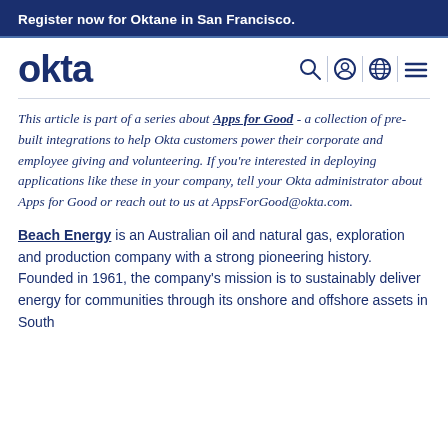Register now for Oktane in San Francisco.
[Figure (logo): Okta logo with navigation icons: search, user, globe, hamburger menu]
This article is part of a series about Apps for Good - a collection of pre-built integrations to help Okta customers power their corporate and employee giving and volunteering. If you're interested in deploying applications like these in your company, tell your Okta administrator about Apps for Good or reach out to us at AppsForGood@okta.com.
Beach Energy is an Australian oil and natural gas, exploration and production company with a strong pioneering history. Founded in 1961, the company's mission is to sustainably deliver energy for communities through its onshore and offshore assets in South